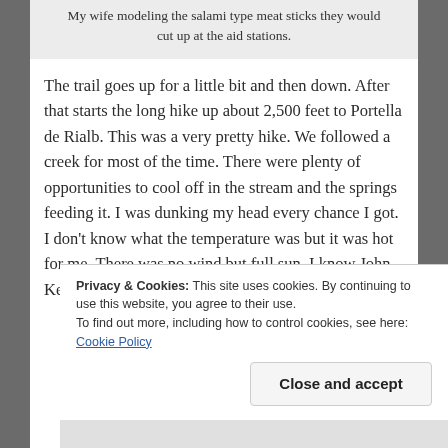My wife modeling the salami type meat sticks they would cut up at the aid stations.
The trail goes up for a little bit and then down. After that starts the long hike up about 2,500 feet to Portella de Rialb. This was a very pretty hike. We followed a creek for most of the time. There were plenty of opportunities to cool off in the stream and the springs feeding it. I was dunking my head every chance I got. I don't know what the temperature was but it was hot for me. There was no wind but full sun. I know John Kelly
Privacy & Cookies: This site uses cookies. By continuing to use this website, you agree to their use.
To find out more, including how to control cookies, see here: Cookie Policy
Close and accept